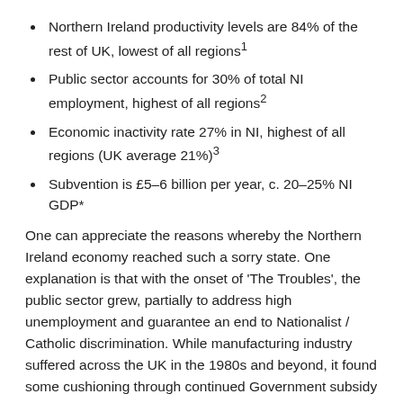Northern Ireland productivity levels are 84% of the rest of UK, lowest of all regions¹
Public sector accounts for 30% of total NI employment, highest of all regions²
Economic inactivity rate 27% in NI, highest of all regions (UK average 21%)³
Subvention is £5–6 billion per year, c. 20–25% NI GDP*
One can appreciate the reasons whereby the Northern Ireland economy reached such a sorry state. One explanation is that with the onset of 'The Troubles', the public sector grew, partially to address high unemployment and guarantee an end to Nationalist / Catholic discrimination. While manufacturing industry suffered across the UK in the 1980s and beyond, it found some cushioning through continued Government subsidy in Northern Ireland (at least compared to England, for example). The political situation maintained Northern